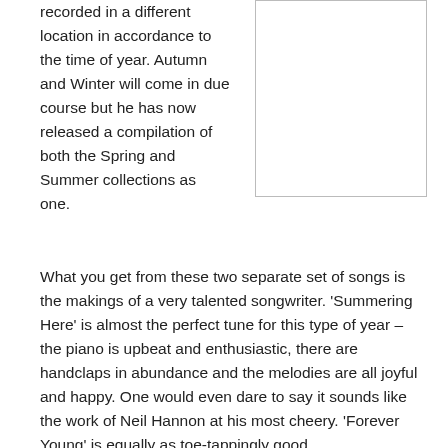recorded in a different location in accordance to the time of year. Autumn and Winter will come in due course but he has now released a compilation of both the Spring and Summer collections as one.
[Figure (other): Empty white box with border, likely a placeholder for an image.]
What you get from these two separate set of songs is the makings of a very talented songwriter. ‘Summering Here’ is almost the perfect tune for this type of year – the piano is upbeat and enthusiastic, there are handclaps in abundance and the melodies are all joyful and happy. One would even dare to say it sounds like the work of Neil Hannon at his most cheery. ‘Forever Young’ is equally as toe-tappingly good.
His voice, whilst in tune and fine most of the time, can sometimes come across as a bit too raspy as illustrated in the otherwise lovely ‘The Persistence of Memory’ but the rest of that song is